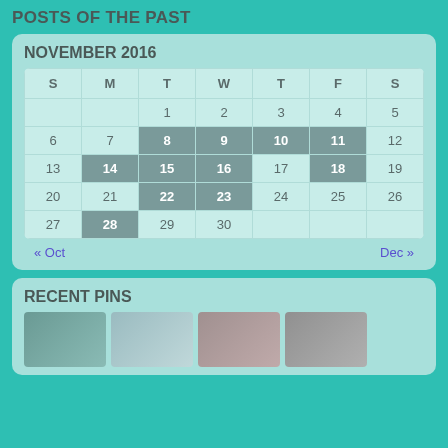POSTS OF THE PAST
NOVEMBER 2016
| S | M | T | W | T | F | S |
| --- | --- | --- | --- | --- | --- | --- |
|  |  | 1 | 2 | 3 | 4 | 5 |
| 6 | 7 | 8 | 9 | 10 | 11 | 12 |
| 13 | 14 | 15 | 16 | 17 | 18 | 19 |
| 20 | 21 | 22 | 23 | 24 | 25 | 26 |
| 27 | 28 | 29 | 30 |  |  |  |
« Oct    Dec »
RECENT PINS